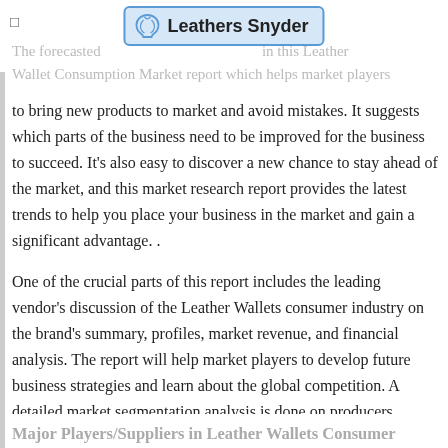Leathers Snyder
The forecasted ... in this Leather Wallet Consumption Market report which helps market players to bring new products to market and avoid mistakes. It suggests which parts of the business need to be improved for the business to succeed. It's also easy to discover a new chance to stay ahead of the market, and this market research report provides the latest trends to help you place your business in the market and gain a significant advantage. .
One of the crucial parts of this report includes the leading vendor's discussion of the Leather Wallets consumer industry on the brand's summary, profiles, market revenue, and financial analysis. The report will help market players to develop future business strategies and learn about the global competition. A detailed market segmentation analysis is done on producers, regions, type and applications in the report.
Major Players/Suppliers in Leather Wallets Consumer